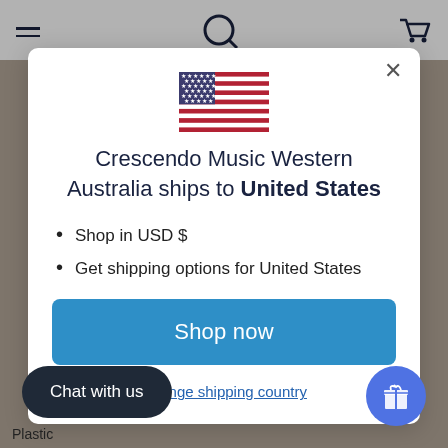[Figure (screenshot): Website navigation bar with hamburger menu, logo (partial circle), and shopping cart icon on a white background]
[Figure (screenshot): US flag emoji/icon displayed in the modal dialog]
Crescendo Music Western Australia ships to United States
Shop in USD $
Get shipping options for United States
Shop now
Change shipping country
Chat with us
Plastic